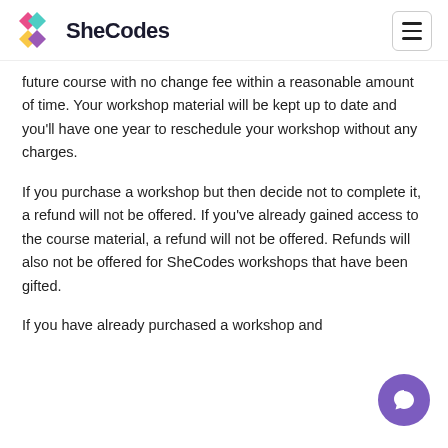SheCodes
future course with no change fee within a reasonable amount of time. Your workshop material will be kept up to date and you'll have one year to reschedule your workshop without any charges.
If you purchase a workshop but then decide not to complete it, a refund will not be offered. If you’ve already gained access to the course material, a refund will not be offered. Refunds will also not be offered for SheCodes workshops that have been gifted.
If you have already purchased a workshop and